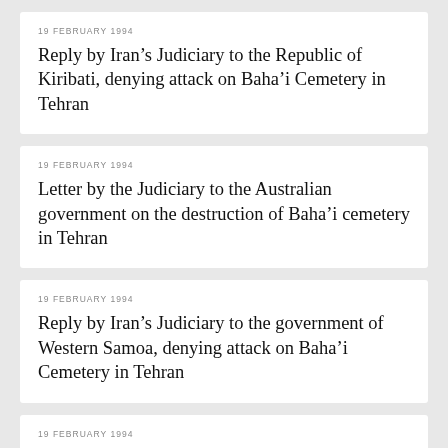19 FEBRUARY 1994
Reply by Iran’s Judiciary to the Republic of Kiribati, denying attack on Baha’i Cemetery in Tehran
19 FEBRUARY 1994
Letter by the Judiciary to the Australian government on the destruction of Baha’i cemetery in Tehran
19 FEBRUARY 1994
Reply by Iran’s Judiciary to the government of Western Samoa, denying attack on Baha’i Cemetery in Tehran
19 FEBRUARY 1994
Letter by the Judiciary to the government of